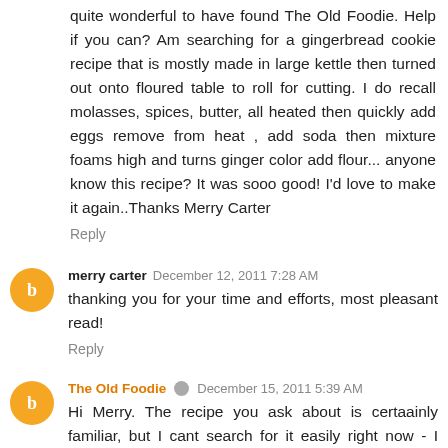quite wonderful to have found The Old Foodie. Help if you can? Am searching for a gingerbread cookie recipe that is mostly made in large kettle then turned out onto floured table to roll for cutting. I do recall molasses, spices, butter, all heated then quickly add eggs remove from heat , add soda then mixture foams high and turns ginger color add flour... anyone know this recipe? It was sooo good! I'd love to make it again..Thanks Merry Carter
Reply
merry carter  December 12, 2011 7:28 AM
thanking you for your time and efforts, most pleasant read!
Reply
The Old Foodie  December 15, 2011 5:39 AM
Hi Merry. The recipe you ask about is certaainly familiar, but I cant search for it easily right now - I have had hand